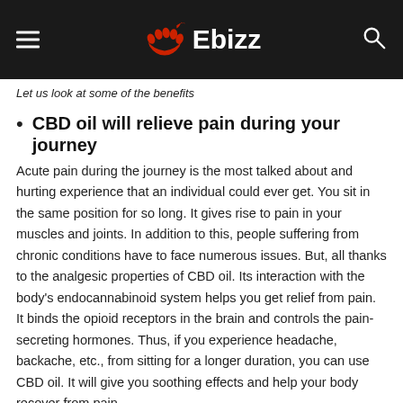Ebizz
Let us look at some of the benefits
CBD oil will relieve pain during your journey
Acute pain during the journey is the most talked about and hurting experience that an individual could ever get. You sit in the same position for so long. It gives rise to pain in your muscles and joints. In addition to this, people suffering from chronic conditions have to face numerous issues. But, all thanks to the analgesic properties of CBD oil. Its interaction with the body's endocannabinoid system helps you get relief from pain. It binds the opioid receptors in the brain and controls the pain-secreting hormones. Thus, if you experience headache, backache, etc., from sitting for a longer duration, you can use CBD oil. It will give you soothing effects and help your body recover from pain.